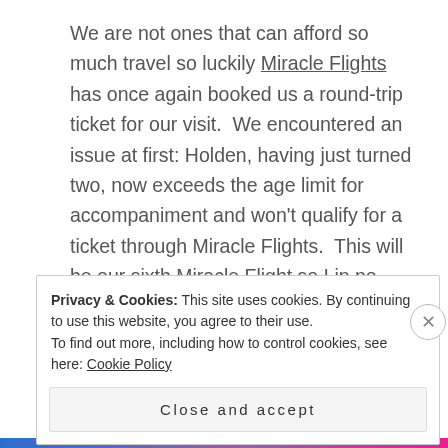We are not ones that can afford so much travel so luckily Miracle Flights has once again booked us a round-trip ticket for our visit.  We encountered an issue at first: Holden, having just turned two, now exceeds the age limit for accompaniment and won't qualify for a ticket through Miracle Flights.  This will be our sixth Miracle Flight so I in no way, shape or form  hold any contempt towards them regarding this policy, but I was distraught at first trying to come up with a plan to bring Holden.
Privacy & Cookies: This site uses cookies. By continuing to use this website, you agree to their use.
To find out more, including how to control cookies, see here: Cookie Policy
Close and accept